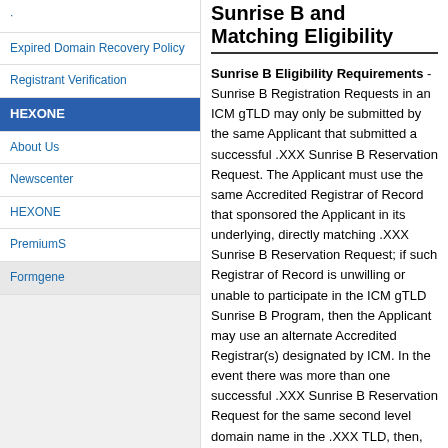Sunrise B and Matching Eligibility
Expired Domain Recovery Policy
Registrant Verification
HEXONE
About Us
Newscenter
HEXONE
PremiumS
Formgene
Sunrise B Eligibility Requirements - Sunrise B Registration Requests in an ICM gTLD may only be submitted by the same Applicant that submitted a successful .XXX Sunrise B Reservation Request. The Applicant must use the same Accredited Registrar of Record that sponsored the Applicant in its underlying, directly matching .XXX Sunrise B Reservation Request; if such Registrar of Record is unwilling or unable to participate in the ICM gTLD Sunrise B Program, then the Applicant may use an alternate Accredited Registrar(s) designated by ICM. In the event there was more than one successful .XXX Sunrise B Reservation Request for the same second level domain name in the .XXX TLD, then, more than one Applicant may submit a Sunrise B Registration Request during the ICM gTLD Sunrise B Program for the directly matching second level domain name in an ICM gTLD. The Registry will allocate the matching second level domain name in the ICM gTLD on a first-come, first-served basis.
Domain Matching Eligibility Requirements - Only the Registrant of the directly matching .XXX TLD Registration is eligible to submit a Domain Matching Registration Request.